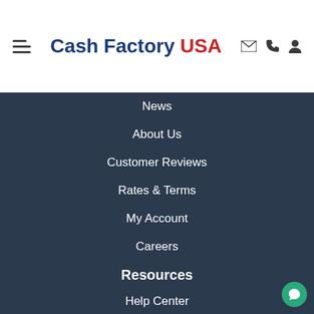Cash Factory USA
News
About Us
Customer Reviews
Rates & Terms
My Account
Careers
Resources
Help Center